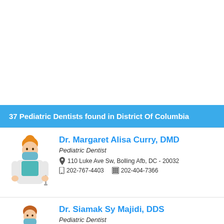37 Pediatric Dentists found in District Of Columbia
Dr. Margaret Alisa Curry, DMD
Pediatric Dentist
110 Luke Ave Sw, Bolling Afb, DC - 20032
202-767-4403  202-404-7366
Dr. Siamak Sy Majidi, DDS
Pediatric Dentist